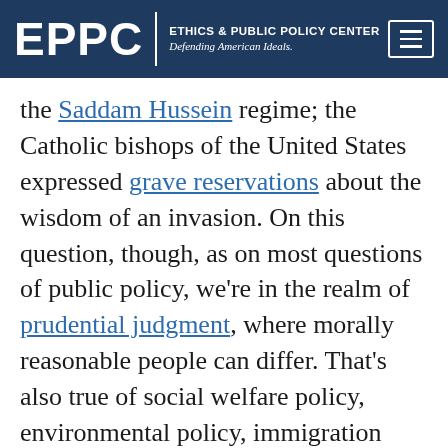EPPC | ETHICS & PUBLIC POLICY CENTER Defending American Ideals.
the Saddam Hussein regime; the Catholic bishops of the United States expressed grave reservations about the wisdom of an invasion. On this question, though, as on most questions of public policy, we're in the realm of prudential judgment, where morally reasonable people can differ. That's also true of social welfare policy, environmental policy, immigration policy and economic policy. On these questions, Catholic politicians owe their religious leaders — as they owe every intelligent proposal — a fair hearing. To suggest that these contingent questions are the equivalent of the life issues, however, is to